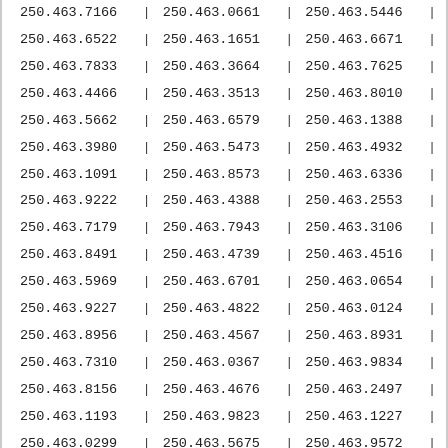| 250.463.7166 | | | 250.463.0661 | | | 250.463.5446 | | |
| 250.463.6522 | | | 250.463.1651 | | | 250.463.6671 | | |
| 250.463.7833 | | | 250.463.3664 | | | 250.463.7625 | | |
| 250.463.4466 | | | 250.463.3513 | | | 250.463.8010 | | |
| 250.463.5662 | | | 250.463.6579 | | | 250.463.1388 | | |
| 250.463.3980 | | | 250.463.5473 | | | 250.463.4932 | | |
| 250.463.1091 | | | 250.463.8573 | | | 250.463.6336 | | |
| 250.463.9222 | | | 250.463.4388 | | | 250.463.2553 | | |
| 250.463.7179 | | | 250.463.7943 | | | 250.463.3106 | | |
| 250.463.8491 | | | 250.463.4739 | | | 250.463.4516 | | |
| 250.463.5969 | | | 250.463.6701 | | | 250.463.0654 | | |
| 250.463.9227 | | | 250.463.4822 | | | 250.463.0124 | | |
| 250.463.8956 | | | 250.463.4567 | | | 250.463.8931 | | |
| 250.463.7310 | | | 250.463.0367 | | | 250.463.9834 | | |
| 250.463.8156 | | | 250.463.4676 | | | 250.463.2497 | | |
| 250.463.1193 | | | 250.463.9823 | | | 250.463.1227 | | |
| 250.463.0299 | | | 250.463.5675 | | | 250.463.9572 | | |
| 250.463.3621 | | | 250.463.8115 | | | 250.463.9786 | | |
| 250.463.4481 | | | 250.463.5003 | | | 250.463.0107 | | |